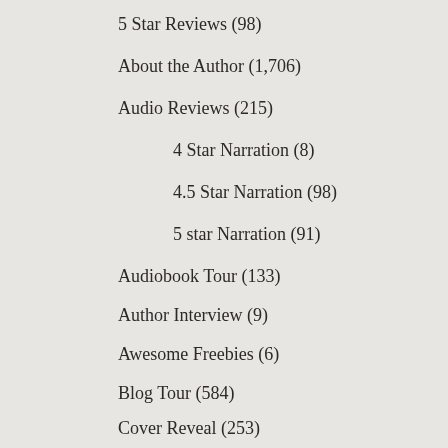5 Star Reviews (98)
About the Author (1,706)
Audio Reviews (215)
4 Star Narration (8)
4.5 Star Narration (98)
5 star Narration (91)
Audiobook Tour (133)
Author Interview (9)
Awesome Freebies (6)
Blog Tour (584)
Cover Reveal (253)
Debut Story (28)
Exclusive Content (155)